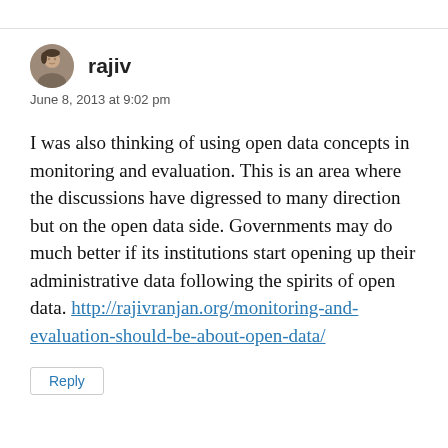rajiv
June 8, 2013 at 9:02 pm
I was also thinking of using open data concepts in monitoring and evaluation. This is an area where the discussions have digressed to many direction but on the open data side. Governments may do much better if its institutions start opening up their administrative data following the spirits of open data. http://rajivranjan.org/monitoring-and-evaluation-should-be-about-open-data/
Reply